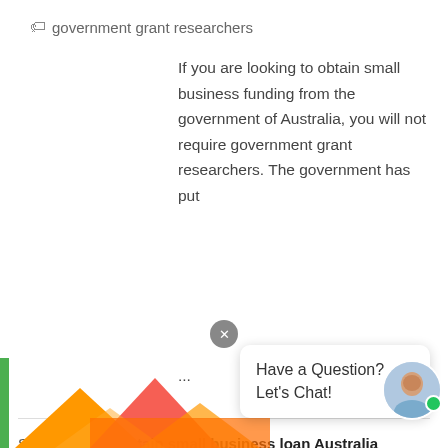government grant researchers
If you are looking to obtain small business funding from the government of Australia, you will not require government grant researchers. The government has put ...
READ FULL ANSWER
Similar Topics:  obtain small business loan Australia
[Figure (screenshot): Social sharing buttons: Facebook Chia sẻ 0, Tweet, Pinterest Save]
[Figure (screenshot): Chat popup with close button, avatar with green dot, and text: Have a Question? Let's Chat!]